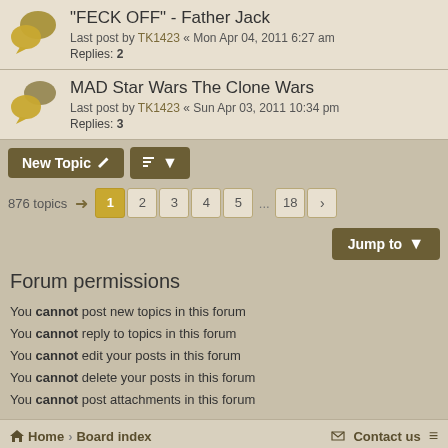"FECK OFF" - Father Jack
Last post by TK1423 « Mon Apr 04, 2011 6:27 am
Replies: 2
MAD Star Wars The Clone Wars
Last post by TK1423 « Sun Apr 03, 2011 10:34 pm
Replies: 3
New Topic | Sort | 876 topics | Page 1 2 3 4 5 ... 18 > | Jump to
Forum permissions
You cannot post new topics in this forum
You cannot reply to topics in this forum
You cannot edit your posts in this forum
You cannot delete your posts in this forum
You cannot post attachments in this forum
Home > Board index | Contact us
Powered by phpBB® Forum Software © phpBB Limited
Style by Arty - phpBB 3.3 by MrGaby
Privacy | Terms